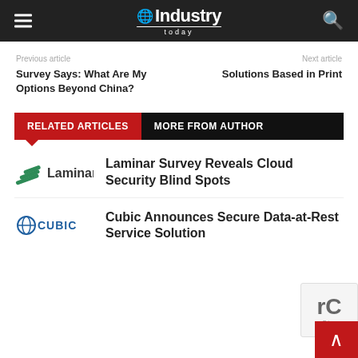Industry Today
Previous article
Survey Says: What Are My Options Beyond China?
Next article
Solutions Based in Print
RELATED ARTICLES  MORE FROM AUTHOR
[Figure (logo): Laminar logo with green diagonal stripes]
Laminar Survey Reveals Cloud Security Blind Spots
[Figure (logo): Cubic logo with blue globe icon]
Cubic Announces Secure Data-at-Rest Service Solution